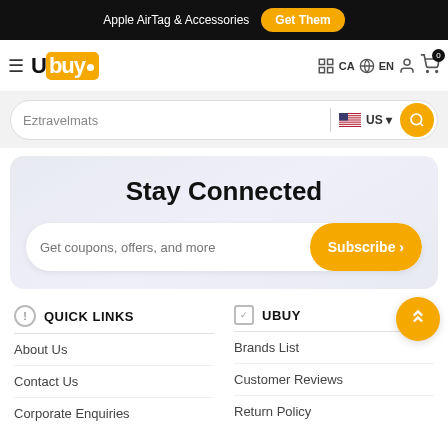Apple AirTag & Accessories  Get Them
[Figure (logo): Ubuy logo with hamburger menu, CA country selector, EN language selector, user icon, and cart icon with 0 badge]
Eztravelmats  US  [search icon]
Stay Connected
Get coupons, offers, and more  Subscribe >
QUICK LINKS
About Us
Contact Us
Corporate Enquiries
UBUY
Brands List
Customer Reviews
Return Policy